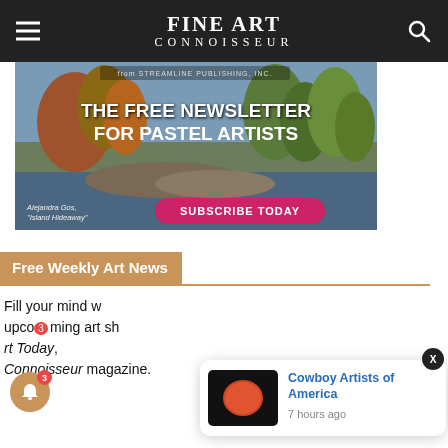FINE ART CONNOISSEUR
[Figure (illustration): Advertisement banner for 'The Free Newsletter for Pastel Artists' from Streamline Publishing Inc., featuring a pastel landscape painting by Alejandra Gos titled 'Island Hideaway' with a pink 'Subscribe Today' button]
Free Weekly Art News
Fill your mind with upcoming art shows, Fine Art Today, from the publishers of Fine Art Connoisseur magazine.
[Figure (photo): Notification popup showing a red moon/circle image with text 'Cowboy Artists of America' in blue and '7 hours ago' in grey]